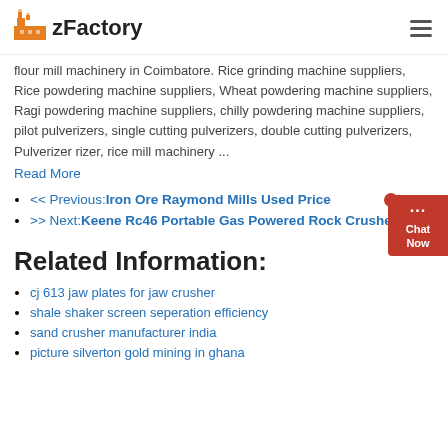zFactory
flour mill machinery in Coimbatore. Rice grinding machine suppliers, Rice powdering machine suppliers, Wheat powdering machine suppliers, Ragi powdering machine suppliers, chilly powdering machine suppliers, pilot pulverizers, single cutting pulverizers, double cutting pulverizers, Pulverizer rizer, rice mill machinery ...
Read More
<< Previous:Iron Ore Raymond Mills Used Price
>> Next:Keene Rc46 Portable Gas Powered Rock Crusher
Related Information:
cj 613 jaw plates for jaw crusher
shale shaker screen seperation efficiency
sand crusher manufacturer india
picture silverton gold mining in ghana